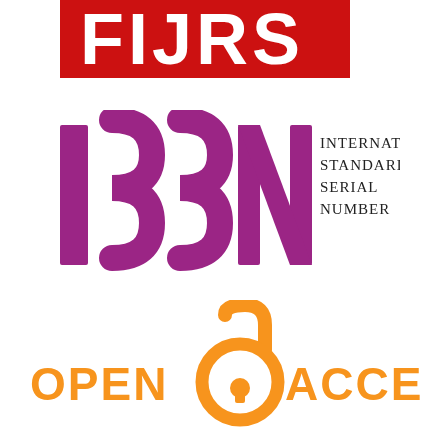[Figure (logo): FIJRS journal logo - red background with white letters FIJRS, partially cropped at top]
[Figure (logo): ISSN logo - purple/magenta stylized letters ISSN on the left, and text 'INTERNATIONAL STANDARD SERIAL NUMBER' on the right in dark serif font]
[Figure (logo): Open Access logo - orange open padlock symbol with text 'OPEN ACCESS' in orange capital letters]